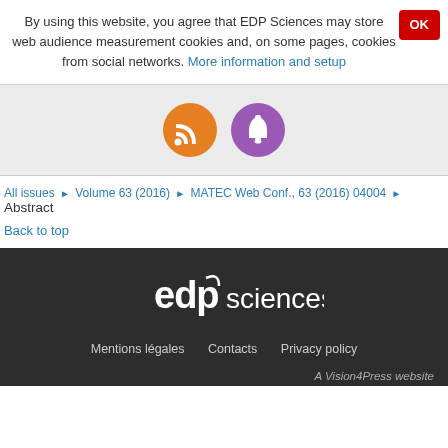By using this website, you agree that EDP Sciences may store web audience measurement cookies and, on some pages, cookies from social networks. More information and setup
[Figure (illustration): Orange RSS feed icon circle and purple notification bell icon circle]
All issues ▶ Volume 63 (2016) ▶ MATEC Web Conf., 63 (2016) 04004 ▶ Abstract
Back to top
[Figure (logo): EDP Sciences white logo on dark background]
Mentions légales   Contacts   Privacy policy   A Vision4Press website